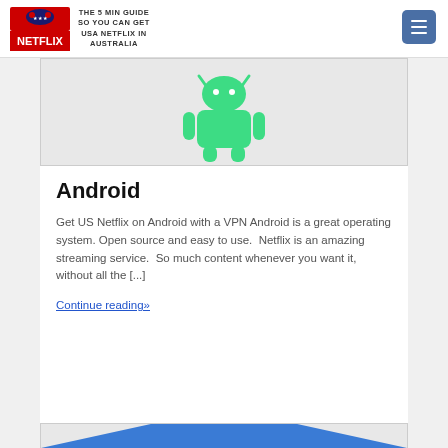THE 5 MIN GUIDE SO YOU CAN GET USA NETFLIX IN AUSTRALIA
[Figure (illustration): Android robot logo in green on light grey background]
Android
Get US Netflix on Android with a VPN Android is a great operating system. Open source and easy to use. Netflix is an amazing streaming service. So much content whenever you want it, without all the [...]
Continue reading»
[Figure (illustration): Partial blue hexagon/shield shape visible at bottom of page]